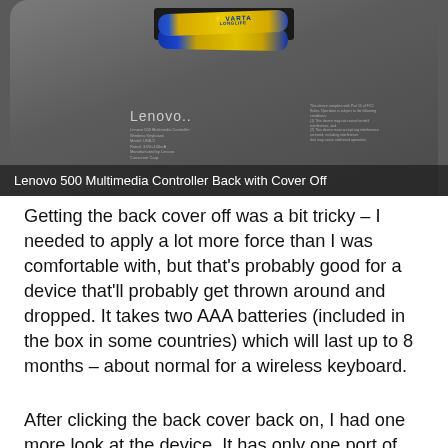[Figure (photo): Back of a Lenovo 500 Multimedia Controller with the battery cover removed, showing two VARTA Longlife AAA batteries installed in the battery compartment. The device is dark gray plastic. The Lenovo brand name and product information text are visible on the back surface.]
Lenovo 500 Multimedia Controller Back with Cover Off
Getting the back cover off was a bit tricky – I needed to apply a lot more force than I was comfortable with, but that's probably good for a device that'll probably get thrown around and dropped. It takes two AAA batteries (included in the box in some countries) which will last up to 8 months – about normal for a wireless keyboard.
After clicking the back cover back on, I had one more look at the device. It has only one port of note right